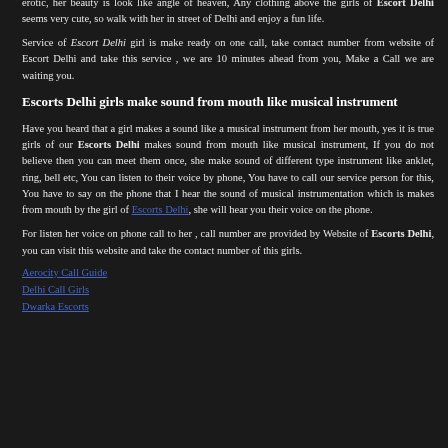Dinner with a beautiful girl, that too in candle light, it will be ultimate fun for you, if a beautiful girl is sitting in front of you, you can eat even if you are not hungry, our Escort Delhi girl is very erotic, her beauty is look like angle of heaven, Any clothing above the girls of Escort Delhi seems very cute, so walk with her in street of Delhi and enjoy a fun life.
Service of Escort Delhi girl is make ready on one call, take contact number from website of Escort Delhi and take this service , we are 10 minutes ahead from you, Make a Call we are waiting you.
Escorts Delhi girls make sound from mouth like musical instrument
Have you heard that a girl makes a sound like a musical instrument from her mouth, yes it is true girls of our Escorts Delhi makes sound from mouth like musical instrument, If you do not believe then you can meet them once, she make sound of different type instrument like anklet, ring, bell etc, You can listen to their voice by phone, You have to call our service person for this, You have to say on the phone that I hear the sound of musical instrumentation which is makes from mouth by the girl of Escorts Delhi, she will hear you their voice on the phone.
For listen her voice on phone call to her , call number are provided by Website of Escorts Delhi, you can visit this website and take the contact number of this girls.
Aerocity Call Guide
Delhi Call Girls
Dwarka Escorts